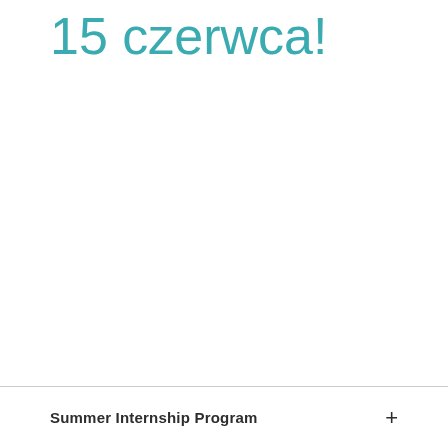15 czerwca!
Summer Internship Program +